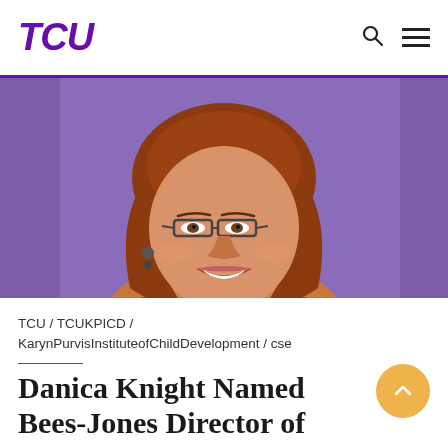TCU
[Figure (photo): Headshot of Danica Knight, a woman with reddish-brown shoulder-length hair and glasses, smiling, against a purple background.]
TCU / TCUKPICD / KarynPurvisInstituteofChildDevelopment / cse
Danica Knight Named Bees-Jones Director of